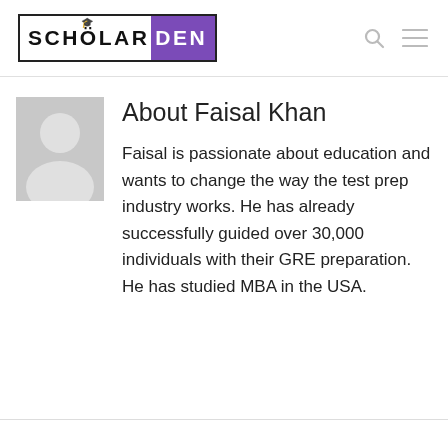[Figure (logo): ScholarDen logo: 'SCHOLAR' in black bold with graduation cap over O, 'DEN' on purple background, inside a black border rectangle]
About Faisal Khan
Faisal is passionate about education and wants to change the way the test prep industry works. He has already successfully guided over 30,000 individuals with their GRE preparation. He has studied MBA in the USA.